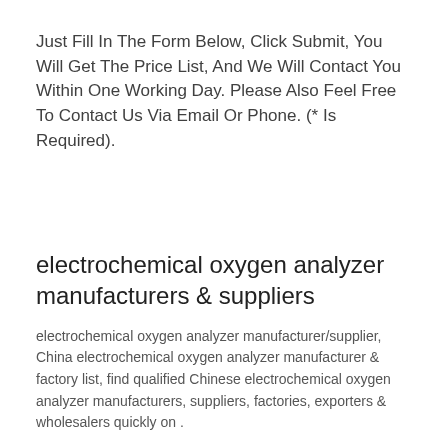Just Fill In The Form Below, Click Submit, You Will Get The Price List, And We Will Contact You Within One Working Day. Please Also Feel Free To Contact Us Via Email Or Phone. (* Is Required).
electrochemical oxygen analyzer manufacturers & suppliers
electrochemical oxygen analyzer manufacturer/supplier, China electrochemical oxygen analyzer manufacturer & factory list, find qualified Chinese electrochemical oxygen analyzer manufacturers, suppliers, factories, exporters & wholesalers quickly on .
Get Price